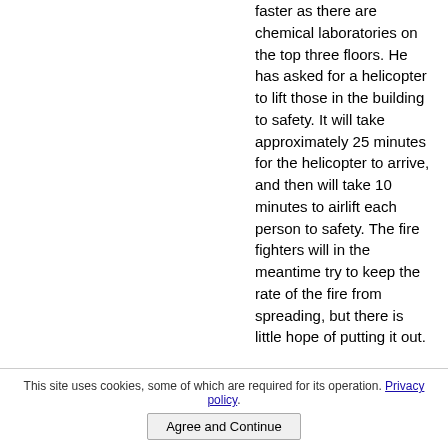faster as there are chemical laboratories on the top three floors. He has asked for a helicopter to lift those in the building to safety. It will take approximately 25 minutes for the helicopter to arrive, and then will take 10 minutes to airlift each person to safety. The fire fighters will in the meantime try to keep the rate of the fire from spreading, but there is little hope of putting it out.

A member of staff has phoned from the 15th floor to say that
This site uses cookies, some of which are required for its operation. Privacy policy
Agree and Continue